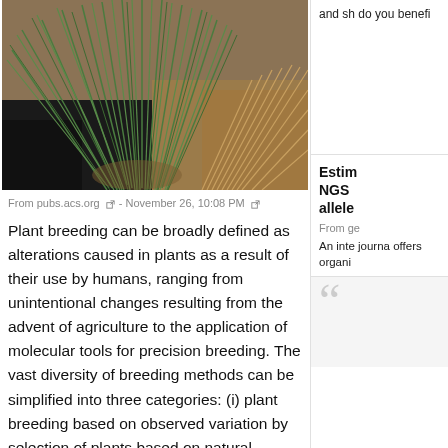[Figure (photo): Close-up photograph of a grass plant showing green blades and roots against a dark background]
From pubs.acs.org - November 26, 10:08 PM
Plant breeding can be broadly defined as alterations caused in plants as a result of their use by humans, ranging from unintentional changes resulting from the advent of agriculture to the application of molecular tools for precision breeding. The vast diversity of breeding methods can be simplified into three categories: (i) plant breeding based on observed variation by selection of plants based on natural variants appearing in nature or within traditional varieties; (ii) plant breeding based on controlled mating by selection of plants presenting recombination of desirable genes from different parents; and (iii) plant breeding based on monitored recombination by selection of specific genes or
and sh do you benefi
Estim NGS allele
From ge
An inte journa offers organi